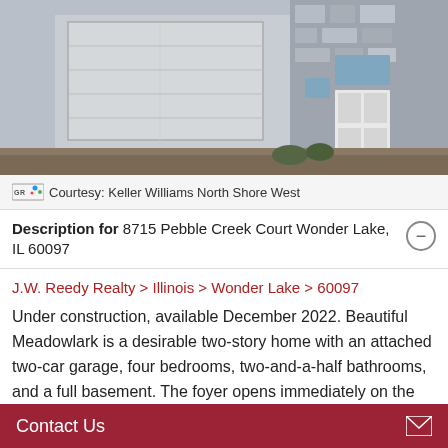[Figure (photo): Exterior photo of a house under construction showing a two-car garage on the left and stone-facade entry on the right, with dirt/gravel in the foreground]
Courtesy: Keller Williams North Shore West
Description for 8715 Pebble Creek Court Wonder Lake, IL 60097
J.W. Reedy Realty > Illinois > Wonder Lake > 60097
Under construction, available December 2022. Beautiful Meadowlark is a desirable two-story home with an attached two-car garage, four bedrooms, two-and-a-half bathrooms, and a full basement. The foyer opens immediately on the left to a flex room. Past the foyer, the entrance room, dining room, and kitchen lay in an open concept for entertaining
Contact Us